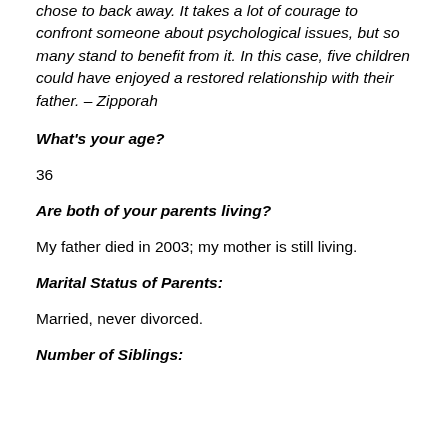chose to back away.  It takes a lot of courage to confront someone about psychological issues, but so many stand to benefit from it.  In this case, five children could have enjoyed a restored relationship with their father.  – Zipporah
What's your age?
36
Are both of your parents living?
My father died in 2003; my mother is still living.
Marital Status of Parents:
Married, never divorced.
Number of Siblings: